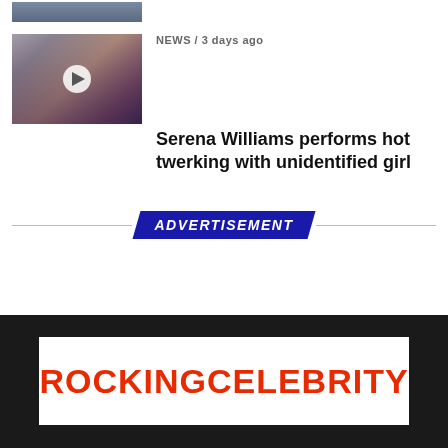[Figure (photo): Partial thumbnail image at top (cropped, showing partial view of people)]
NEWS / 3 days ago
Serena Williams performs hot twerking with unidentified girl
ADVERTISEMENT
[Figure (logo): ROCKINGCELEBRITY logo in red bold text on white background]
Copyright © 2017